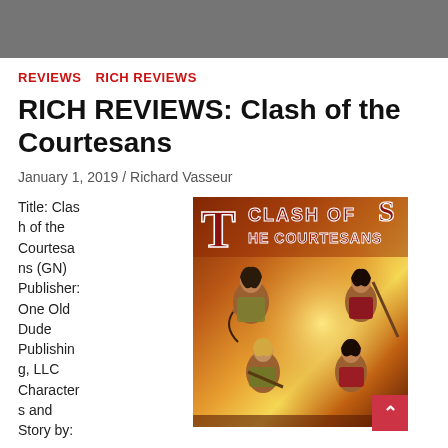REVIEWS  RICH REVIEWS
RICH REVIEWS: Clash of the Courtesans
January 1, 2019 / Richard Vasseur
Title: Clash of the Courtesans (GN) Publisher: One Old Dude Publishing, LLC Characters and Story by:
[Figure (illustration): Book cover of 'Clash of the Courtesans' showing four female warrior characters in fantasy attire with weapons, on a warm orange/gold background. The title text reads 'T CLASH OF S HE COURTESANS' in red lettering.]